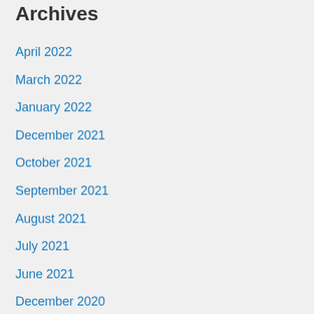Archives
April 2022
March 2022
January 2022
December 2021
October 2021
September 2021
August 2021
July 2021
June 2021
December 2020
September 2020
August 2020
May 2020
April 2020